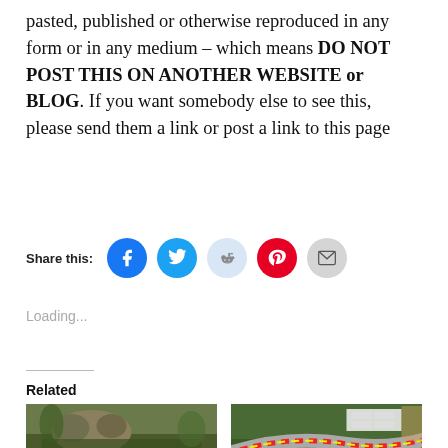pasted, published or otherwise reproduced in any form or in any medium – which means DO NOT POST THIS ON ANOTHER WEBSITE or BLOG. If you want somebody else to see this, please send them a link or post a link to this page
[Figure (infographic): Share this: row of social media icon buttons — Facebook (blue), Twitter (blue), Reddit (light blue), Pinterest (red), Email (grey)]
Loading...
Related
[Figure (photo): Photo of a wolf in green foliage]
[Figure (photo): Photo of a racing circuit track with red and yellow curbs]